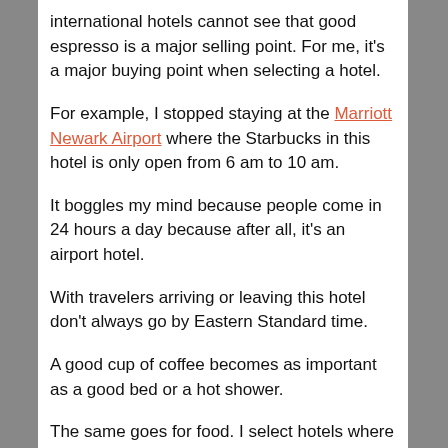international hotels cannot see that good espresso is a major selling point. For me, it’s a major buying point when selecting a hotel.
For example, I stopped staying at the Marriott Newark Airport where the Starbucks in this hotel is only open from 6 am to 10 am.
It boggles my mind because people come in 24 hours a day because after all, it’s an airport hotel.
With travelers arriving or leaving this hotel don’t always go by Eastern Standard time.
A good cup of coffee becomes as important as a good bed or a hot shower.
The same goes for food. I select hotels where I can get my breakfast, lunch, or dinner 24/7 because my body time clock